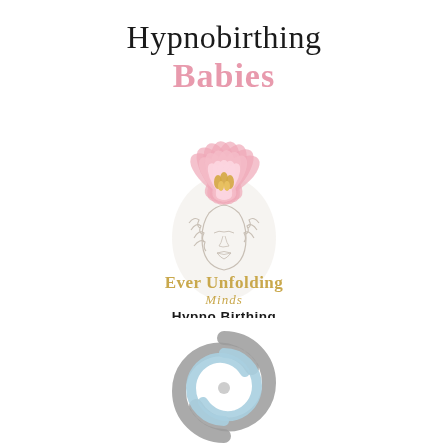Hypnobirthing Babies
[Figure (logo): Ever Unfolding Minds Hypno Birthing logo — line-art illustration of a woman's face with hands raised, topped by a large pink lotus flower. Text below reads 'Ever Unfolding Minds' in gold and 'Hypno Birthing' in black.]
[Figure (logo): Spiral swirl logo made of overlapping grey and light blue curved wave shapes forming a circular vortex.]